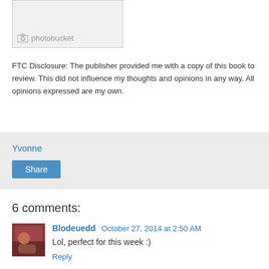[Figure (screenshot): Photobucket placeholder image box with camera icon and 'photobucket' text]
FTC Disclosure: The publisher provided me with a copy of this book to review. This did not influence my thoughts and opinions in any way. All opinions expressed are my own.
Yvonne
Share
6 comments:
Blodeuedd October 27, 2014 at 2:50 AM
Lol, perfect for this week :)
Reply